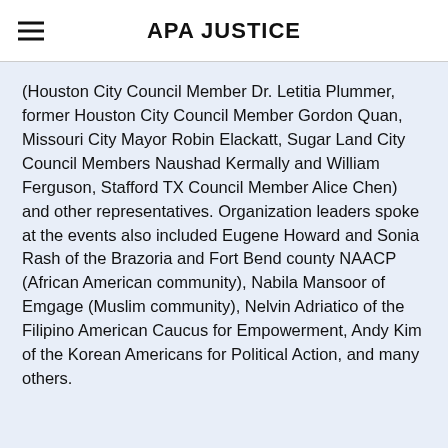APA JUSTICE
(Houston City Council Member Dr. Letitia Plummer, former Houston City Council Member Gordon Quan, Missouri City Mayor Robin Elackatt, Sugar Land City Council Members Naushad Kermally and William Ferguson, Stafford TX Council Member Alice Chen) and other representatives. Organization leaders spoke at the events also included Eugene Howard and Sonia Rash of the Brazoria and Fort Bend county NAACP (African American community), Nabila Mansoor of Emgage (Muslim community), Nelvin Adriatico of the Filipino American Caucus for Empowerment, Andy Kim of the Korean Americans for Political Action, and many others.